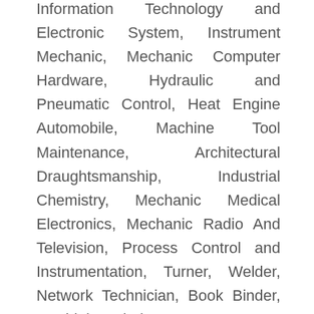Information Technology and Electronic System, Instrument Mechanic, Mechanic Computer Hardware, Hydraulic and Pneumatic Control, Heat Engine Automobile, Machine Tool Maintenance, Architectural Draughtsmanship, Industrial Chemistry, Mechanic Medical Electronics, Mechanic Radio And Television, Process Control and Instrumentation, Turner, Welder, Network Technician, Book Binder, Machinist Grinder, etc.
Bottom Line:
ITI courses are one of the most chosen short-term courses in India to avail job facilities after schooling. These courses are an excellent option to start earning a little early. Like boys, girls also can